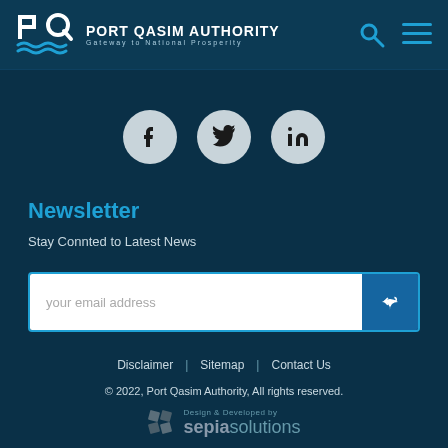[Figure (logo): Port Qasim Authority logo with PQ letters and wave graphic, tagline: Gateway to National Prosperity]
[Figure (illustration): Social media icons: Facebook, Twitter, LinkedIn as grey circles]
Newsletter
Stay Connted to Latest News
[Figure (screenshot): Email input field with placeholder 'your email address' and a submit arrow button]
Disclaimer | Sitemap | Contact Us
© 2022, Port Qasim Authority, All rights reserved.
[Figure (logo): Design & Developed by sepia solutions logo]